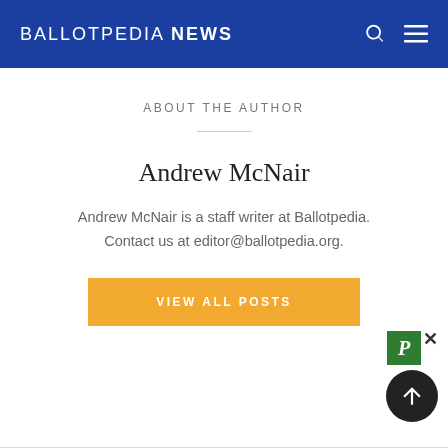BALLOTPEDIA NEWS
ABOUT THE AUTHOR
Andrew McNair
Andrew McNair is a staff writer at Ballotpedia. Contact us at editor@ballotpedia.org.
VIEW ALL POSTS